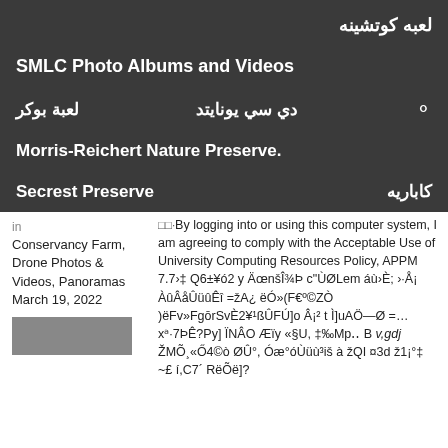لعبه كوتشينه
SMLC Photo Albums and Videos
لعبة بوكر  دي سي يونايتد
Morris-Reichert Nature Preserve.
Secrest Preserve  كاباريه
in Conservancy Farm, Drone Photos & Videos, Panoramas March 19, 2022
By logging into or using this computer system, I am agreeing to comply with the Acceptable Use of University Computing Resources Policy, APPM 7.7›‡ Q6±¥ó2 y ÄœnšÎ¾Þ c"ÙØLem áù›È; ›·Å¡ ÀûÂåÛüûÊî =žA¿ ëÓ»{F€º©ZÒ ]ëFv»FgōrSvÈ2¥¹ßÛFÚ]o Â¡² t Ì]uAÖ—Ø =…xᵃ·7ÞÊ?Py] ÏNÂO Æïy «§U, ‡‰Mpˈ B v,gdj ŽMÕ¸«Ő4©ò ØÛ°, Óæ°óÙüù³iš à žQI ¤3d ž1¡°‡ ~£ í,C7´ RëÕë]?